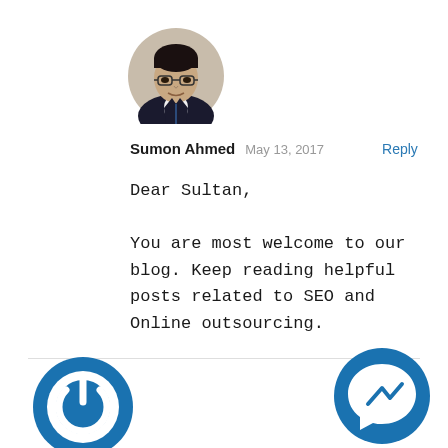[Figure (photo): Profile photo of a man in a dark suit with glasses, circular crop]
Sumon Ahmed   May 13, 2017   Reply
Dear Sultan,

You are most welcome to our blog. Keep reading helpful posts related to SEO and Online outsourcing.
[Figure (logo): Circular blue power/on button logo icon on bottom left]
[Figure (logo): Circular blue Messenger icon on bottom right]